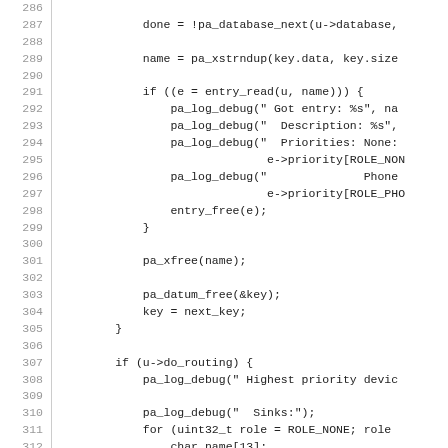[Figure (screenshot): Source code listing showing lines 286-315 of a C program. Line numbers are shown in grey on the left side with a vertical separator. Code involves database iteration, entry reading with debug logging, memory management functions like pa_xfree, pa_datum_free, and routing logic with pa_log_debug and a for loop over roles.]